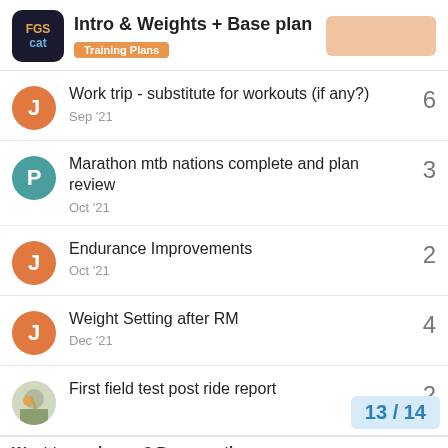Intro & Weights + Base plan — Training Plans
Work trip - substitute for workouts (if any?) — 6 — Sep '21
Marathon mtb nations complete and plan review — 3 — Oct '21
Endurance Improvements — 2 — Oct '21
Weight Setting after RM — 4 — Dec '21
First field test post ride report — 2
13 / 14
Want to read more? Browse other